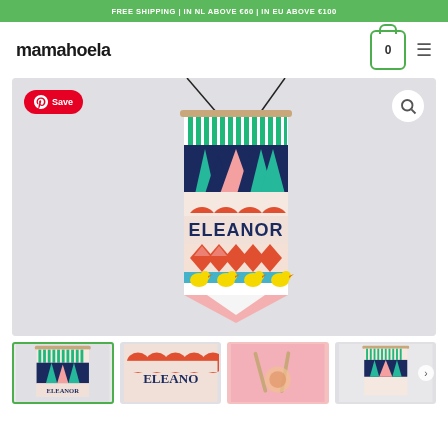FREE SHIPPING | IN NL ABOVE €60 | IN EU ABOVE €100
mamahoela
[Figure (photo): Colorful personalized knitted/embroidered wall hanging banner with name ELEANOR, featuring geometric pattern designs including trees, arches, arrows, ducks, hanging from a wooden dowel]
[Figure (photo): Thumbnail: Full view of the ELEANOR wall hanging banner]
[Figure (photo): Thumbnail: Close-up of ELEANOR text on the banner]
[Figure (photo): Thumbnail: Process/craft photo showing knitting needles on pink background]
[Figure (photo): Thumbnail: Partial view of another wall hanging banner]